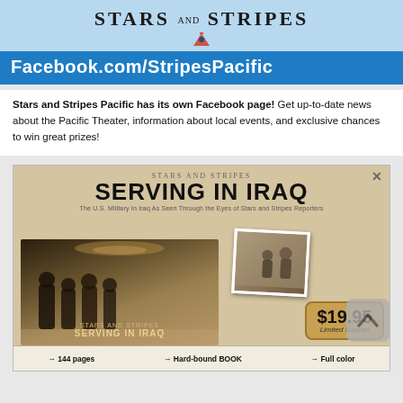[Figure (illustration): Stars and Stripes logo with American flag eagle emblem on light blue background, followed by blue bar with Facebook.com/StripesPacific URL]
Stars and Stripes Pacific has its own Facebook page! Get up-to-date news about the Pacific Theater, information about local events, and exclusive chances to win great prizes!
[Figure (illustration): Stars and Stripes 'Serving in Iraq' book advertisement showing soldiers in sepia-toned image, price tag $19.95 Limited Supply, and bottom bar showing 144 pages, Hard-bound BOOK, Full color]